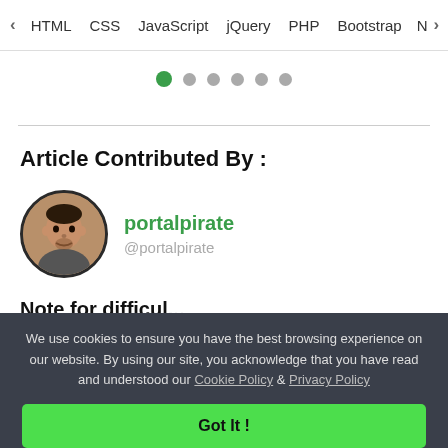< HTML  CSS  JavaScript  jQuery  PHP  Bootstrap  N>
[Figure (other): Carousel dot indicators: one active green dot followed by five grey dots]
Article Contributed By :
[Figure (photo): Circular avatar photo of user portalpirate]
portalpirate
@portalpirate
We use cookies to ensure you have the best browsing experience on our website. By using our site, you acknowledge that you have read and understood our Cookie Policy & Privacy Policy
Got It !